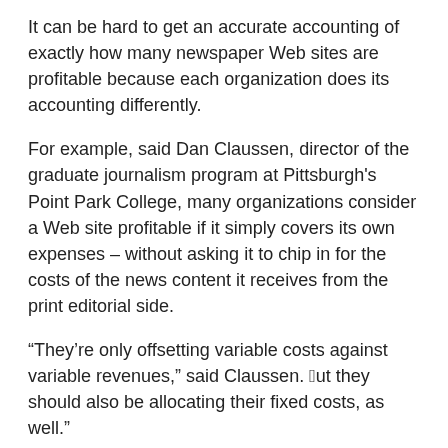It can be hard to get an accurate accounting of exactly how many newspaper Web sites are profitable because each organization does its accounting differently.
For example, said Dan Claussen, director of the graduate journalism program at Pittsburgh's Point Park College, many organizations consider a Web site profitable if it simply covers its own expenses – without asking it to chip in for the costs of the news content it receives from the print editorial side.
“They’re only offsetting variable costs against variable revenues,” said Claussen. “But they should also be allocating their fixed costs, as well.”
But the converse could be true as well; in some cases, the online operation leads to significant savings for the company as a whole.
“Lots of newspapers have cut way back on the space they devote to stock lists because they’re running and making